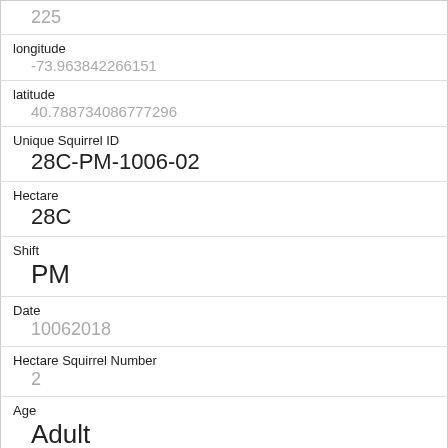| 225 |
| longitude | -73.963842266151 |
| latitude | 40.788734086777296 |
| Unique Squirrel ID | 28C-PM-1006-02 |
| Hectare | 28C |
| Shift | PM |
| Date | 10062018 |
| Hectare Squirrel Number | 2 |
| Age | Adult |
| Primary Fur Color | Gray |
| Highlight Fur Color |  |